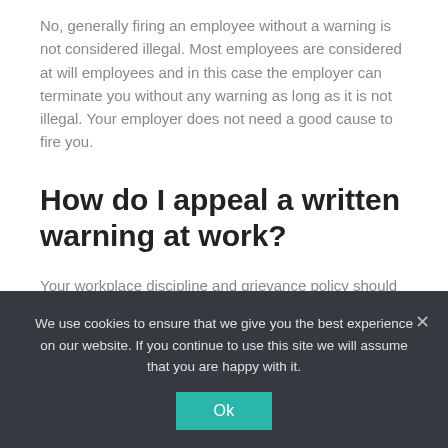No, generally firing an employee without a warning is not considered illegal. Most employees are considered at will employees and in this case the employer can terminate you without any warning as long as it is not illegal. Your employer does not need a good cause to fire you.
How do I appeal a written warning at work?
Your workplace discipline and grievance policy should tell you how to appeal. If not, you should raise your appeal in writing to your employer. Write in a letter or email: why you think your outcome was wrong or unfair (for example, if you felt the person
We use cookies to ensure that we give you the best experience on our website. If you continue to use this site we will assume that you are happy with it.